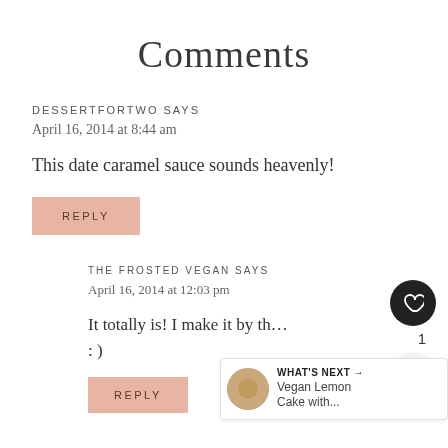Comments
DESSERTFORTWO SAYS
April 16, 2014 at 8:44 am
This date caramel sauce sounds heavenly!
REPLY
THE FROSTED VEGAN SAYS
April 16, 2014 at 12:03 pm
It totally is! I make it by th... : )
WHAT'S NEXT → Vegan Lemon Cake with...